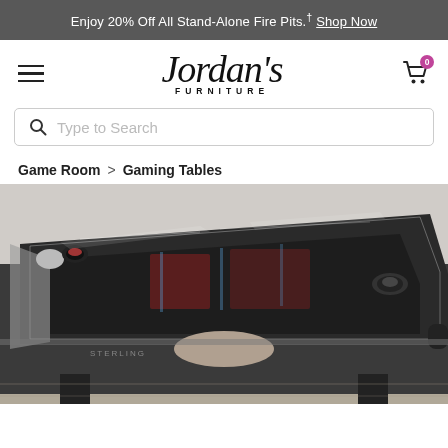Enjoy 20% Off All Stand-Alone Fire Pits.† Shop Now
[Figure (logo): Jordan's Furniture logo with italic script wordmark and FURNITURE sub-text]
Type to Search
Game Room > Gaming Tables
[Figure (photo): Close-up photograph of an air hockey gaming table with dark frame, chrome corner accents, clear acrylic top cover with pucks, in a showroom setting]